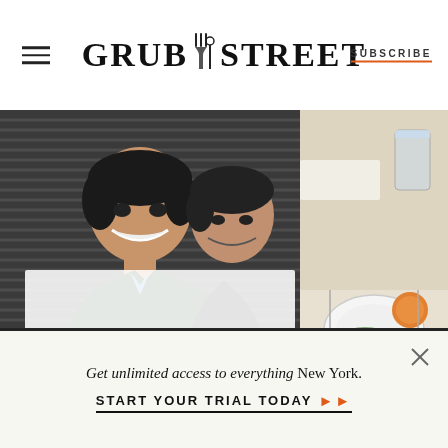GRUB STREET — SUBSCRIBE
[Figure (photo): Two men smiling, standing in front of a striped background, left photo; kitchen/dining scene with plates and fruit on right]
Get unlimited access to everything New York.
START YOUR TRIAL TODAY ➤➤